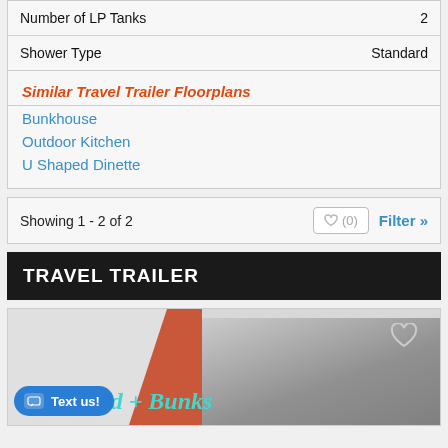| Number of LP Tanks | 2 |
| Shower Type | Standard |
Similar Travel Trailer Floorplans
Bunkhouse
Outdoor Kitchen
U Shaped Dinette
Showing 1 - 2 of 2
♥ (0)
Filter »
TRAVEL TRAILER
[Figure (photo): Travel trailer listing card showing 'Bed + Bunks' text with a heart icon and a chat 'Text us!' button overlay]
Text us!